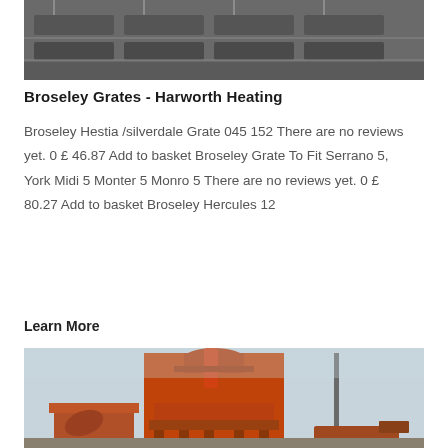[Figure (photo): Industrial heating equipment or grates viewed from above, grey/dark metal machinery]
Broseley Grates - Harworth Heating
Broseley Hestia /silverdale Grate 045152 There are no reviews yet. 0 £ 46.87 Add to basket Broseley Grate To Fit Serrano 5, York Midi 5 Monter 5 Monro 5 There are no reviews yet. 0 £ 80.27 Add to basket Broseley Hercules 12
Learn More
[Figure (photo): Large orange industrial asphalt mixing plant or similar heavy industrial equipment, with cranes, silos, and trucks visible]